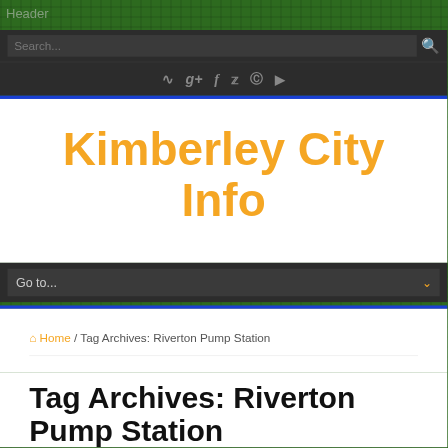Header
Kimberley City Info
Go to...
Home / Tag Archives: Riverton Pump Station
Tag Archives: Riverton Pump Station